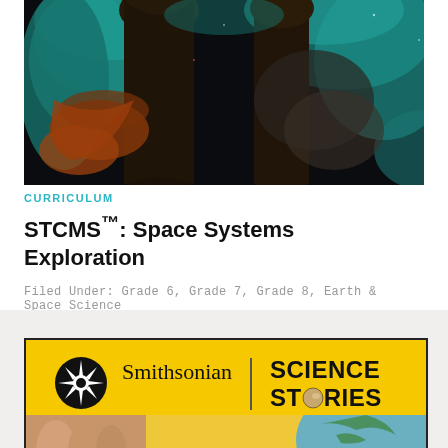[Figure (photo): Hubble Space Telescope image of nebula pillars (Pillars of Creation) with teal/green gas clouds and orange-red dust formations against dark background]
CURRICULUM
STCMS™: Space Systems Exploration
Filed Under: Grade 6, Grade 7, Grade 8, Earth & Space Science
[Figure (logo): Smithsonian Science Stories logo on yellow background — Smithsonian sunburst icon, 'Smithsonian' text, vertical divider, 'SCIENCE STORIES' text in bold with a planet replacing the O in STORIES]